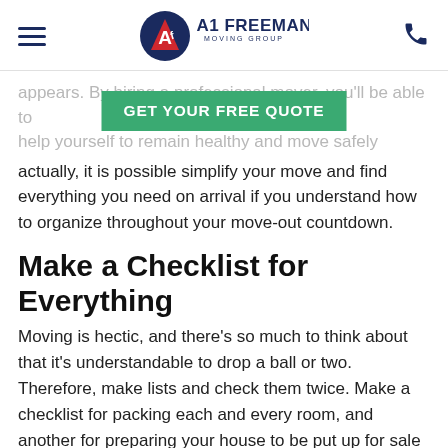A1 Freeman Moving Group
appears. By hiring a professional mover, you'll be able to help yourself to remain healthy and move safely
[Figure (other): Green CTA button: GET YOUR FREE QUOTE]
actually, it is possible simplify your move and find everything you need on arrival if you understand how to organize throughout your move-out countdown.
Make a Checklist for Everything
Moving is hectic, and there’s so much to think about that it's understandable to drop a ball or two. Therefore, make lists and check them twice. Make a checklist for packing each and every room, and another for preparing your house to be put up for sale or end the lease. Make a checklist for hiring the moving company in Little Rock and another checklist for